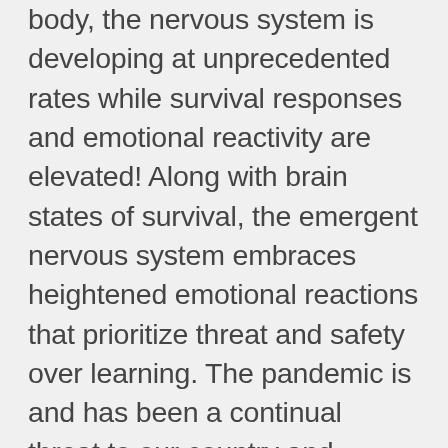body, the nervous system is developing at unprecedented rates while survival responses and emotional reactivity are elevated! Along with brain states of survival, the emergent nervous system embraces heightened emotional reactions that prioritize threat and safety over learning. The pandemic is and has been a continual threat to our country and world's collective nervous systems which biologically shuts down accessibility in the frontal cortex for felt safety and ease of connection with another. I have also been thinking about the palatable communal nervous system states in schools. Which schools are functioning in fight/flight states where there is ramped up emotional reactivity? Which schools feel a significant